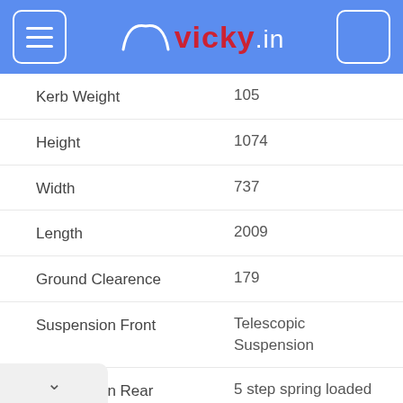vicky.in
| Specification | Value |
| --- | --- |
| Kerb Weight | 105 |
| Height | 1074 |
| Width | 737 |
| Length | 2009 |
| Ground Clearence | 179 |
| Suspension Front | Telescopic Suspension |
| Suspension Rear | 5 step spring loaded suspension |